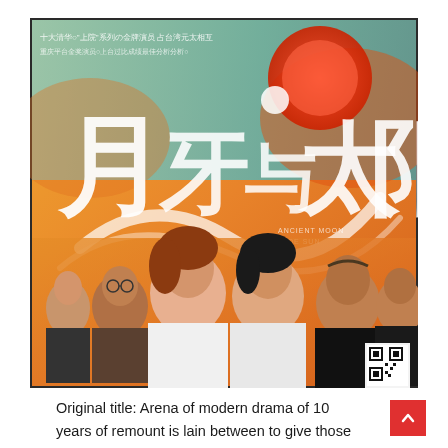[Figure (photo): Promotional poster for a Chinese stage drama/TV production featuring large Chinese calligraphy characters (月牙与太阳) at the top with stylized sun and cloud imagery, and six cast members posing below. Small Chinese text at top and a QR code in the bottom right corner.]
Original title: Arena of modern drama of 10 years of remount is lain between to give those who act to often abandon the wording and